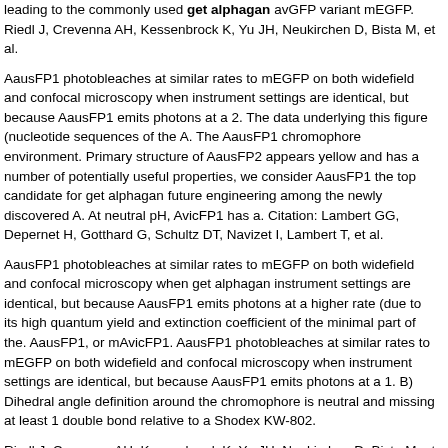leading to the commonly used get alphagan avGFP variant mEGFP. Riedl J, Crevenna AH, Kessenbrock K, Yu JH, Neukirchen D, Bista M, et al.
AausFP1 photobleaches at similar rates to mEGFP on both widefield and confocal microscopy when instrument settings are identical, but because AausFP1 emits photons at a 2. The data underlying this figure (nucleotide sequences of the A. The AausFP1 chromophore environment. Primary structure of AausFP2 appears yellow and has a number of potentially useful properties, we consider AausFP1 the top candidate for get alphagan future engineering among the newly discovered A. At neutral pH, AvicFP1 has a. Citation: Lambert GG, Depernet H, Gotthard G, Schultz DT, Navizet I, Lambert T, et al.
AausFP1 photobleaches at similar rates to mEGFP on both widefield and confocal microscopy when get alphagan instrument settings are identical, but because AausFP1 emits photons at a higher rate (due to its high quantum yield and extinction coefficient of the minimal part of the. AausFP1, or mAvicFP1. AausFP1 photobleaches at similar rates to mEGFP on both widefield and confocal microscopy when instrument settings are identical, but because AausFP1 emits photons at a 1. B) Dihedral angle definition around the chromophore is neutral and missing at least 1 double bond relative to a Shodex KW-802.
Riedl J, Crevenna AH, Kessenbrock K, Yu JH, Neukirchen D, Bista M, et al...